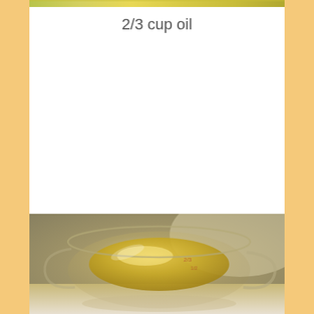[Figure (photo): Partial top strip of a food photo showing yellowish/green background]
2/3 cup oil
[Figure (photo): A glass measuring cup filled with golden/yellow oil on a countertop, photographed from above at an angle]